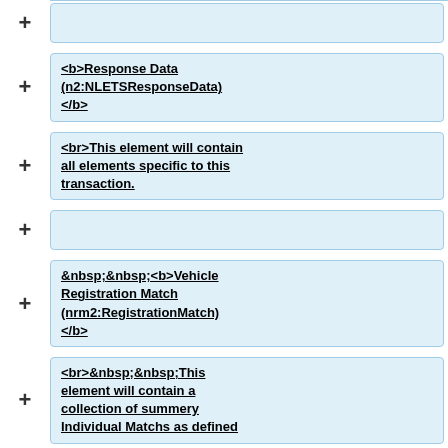+ [empty box top]
+ <b>Response Data (n2:NLETSResponseData) </b>
+ <br>This element will contain all elements specific to this transaction.
+ [empty box]
+ &nbsp;&nbsp;<b>Vehicle Registration Match (nrm2:RegistrationMatch) </b>
+ <br>&nbsp;&nbsp;This element will contain a collection of summery Individual Matchs as defined